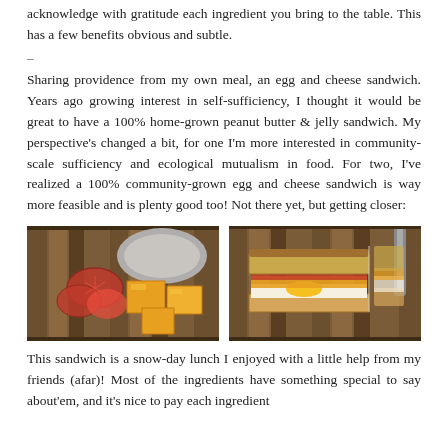acknowledge with gratitude each ingredient you bring to the table. This has a few benefits obvious and subtle.
–
Sharing providence from my own meal, an egg and cheese sandwich. Years ago growing interest in self-sufficiency, I thought it would be great to have a 100% home-grown peanut butter & jelly sandwich. My perspective's changed a bit, for one I'm more interested in community-scale sufficiency and ecological mutualism in food. For two, I've realized a 100% community-grown egg and cheese sandwich is way more feasible and is plenty good too! Not there yet, but getting closer:
[Figure (photo): Ingredients on a wooden cutting board: tomato slices and yellow cheese cubes, with bread visible in the background]
[Figure (photo): A finished egg and cheese sandwich cut in half on a wooden cutting board, showing layers of egg, cheese, and tomato]
This sandwich is a snow-day lunch I enjoyed with a little help from my friends (afar)! Most of the ingredients have something special to say about'em, and it's nice to pay each ingredient